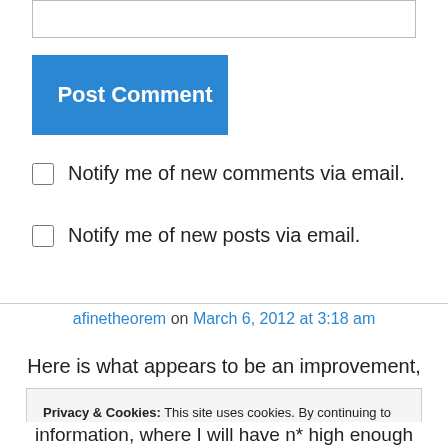[text input box]
Post Comment
Notify me of new comments via email.
Notify me of new posts via email.
afinetheorem on March 6, 2012 at 3:18 am
Here is what appears to be an improvement,
Privacy & Cookies: This site uses cookies. By continuing to use this website, you agree to their use.
To find out more, including how to control cookies, see here: Cookie Policy
Close and accept
information, where I will have n* high enough